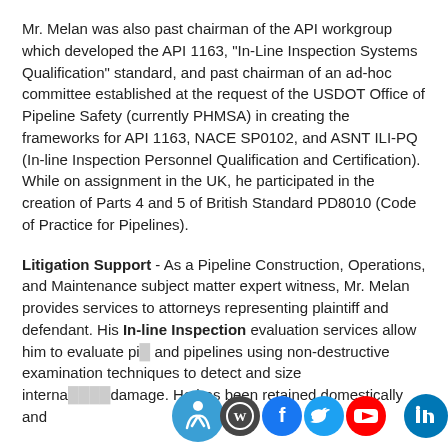Mr. Melan was also past chairman of the API workgroup which developed the API 1163, "In-Line Inspection Systems Qualification" standard, and past chairman of an ad-hoc committee established at the request of the USDOT Office of Pipeline Safety (currently PHMSA) in creating the frameworks for API 1163, NACE SP0102, and ASNT ILI-PQ (In-line Inspection Personnel Qualification and Certification). While on assignment in the UK, he participated in the creation of Parts 4 and 5 of British Standard PD8010 (Code of Practice for Pipelines).
Litigation Support - As a Pipeline Construction, Operations, and Maintenance subject matter expert witness, Mr. Melan provides services to attorneys representing plaintiff and defendant. His In-line Inspection evaluation services allow him to evaluate pi… and pipelines using non-destructive examination techniques to detect and size interna… ext … damage. He has been retained domestically and
[Figure (infographic): Social media icon bar at bottom right: accessibility icon (blue circle with person), WordPress icon (grey circle), Facebook icon (blue circle), Twitter icon (light blue circle), YouTube icon (red circle), LinkedIn icon (blue circle)]